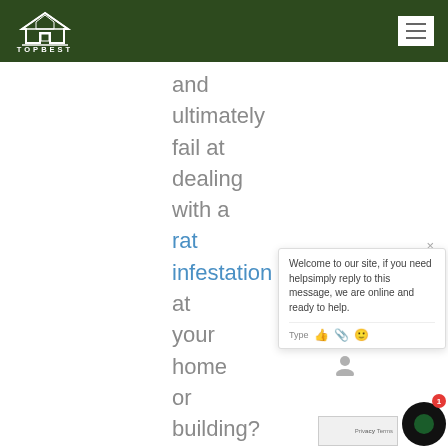TOPBEST
and ultimately fail at dealing with a rat infestation at your home or building? You